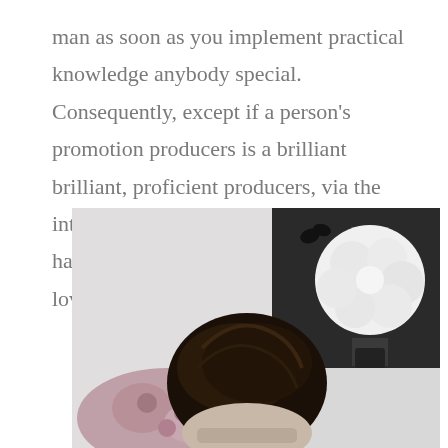man as soon as you implement practical knowledge anybody special. Consequently, except if a person's promotion producers is a brilliant brilliant, proficient producers, via the internet association particular information have to purely exhibit that which you love.
[Figure (photo): Black and white photograph showing the top of a person's head with dark hair styled upward, in an indoor setting with a floral pillow on the left and a large white flower decoration/art on a dark background on the upper right.]